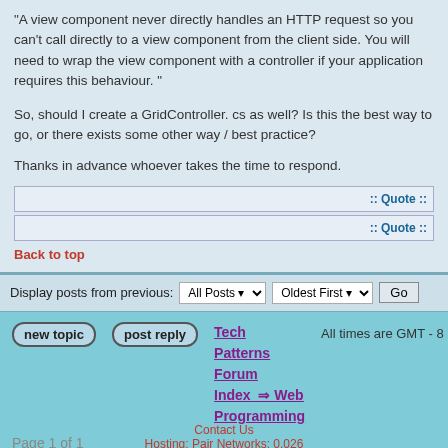"A view component never directly handles an HTTP request so you can't call directly to a view component from the client side. You will need to wrap the view component with a controller if your application requires this behaviour. "
So, should I create a GridController. cs as well? Is this the best way to go, or there exists some other way / best practice?
Thanks in advance whoever takes the time to respond.
:: Quote ::
:: Quote ::
Back to top
Display posts from previous:  All Posts   Oldest First   Go
new topic   post reply   Tech Patterns Forum Index => Web Programming   All times are GMT - 8 Hours
Page 1 of 1
Contact Us
Hosting: Pair Networks: 0.026